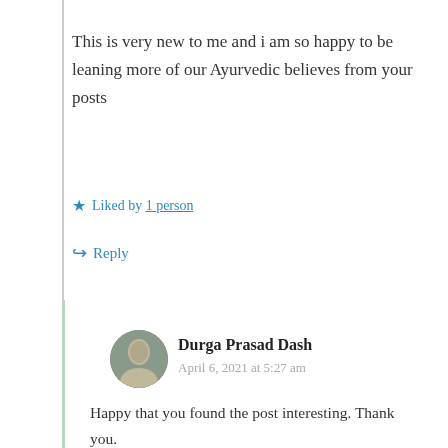This is very new to me and i am so happy to be leaning more of our Ayurvedic believes from your posts
★ Liked by 1 person
↳ Reply
Durga Prasad Dash
April 6, 2021 at 5:27 am
Happy that you found the post interesting. Thank you.